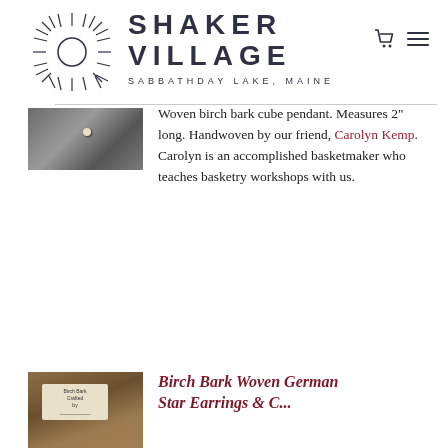[Figure (logo): Shaker Village Sabbathday Lake Maine logo with sunburst circle icon and navigation icons (cart, hamburger menu)]
[Figure (photo): Woven birch bark cube pendant product photo, partially cropped, showing textured woven surface with a light-colored bead/dot]
Woven birch bark cube pendant. Measures 2" long. Handwoven by our friend, Carolyn Kemp. Carolyn is an accomplished basketmaker who teaches basketry workshops with us.
[Figure (photo): Birch bark product photo at bottom, partially cropped, showing woven item with tag label]
Birch Bark Woven German Star Earrings & C...